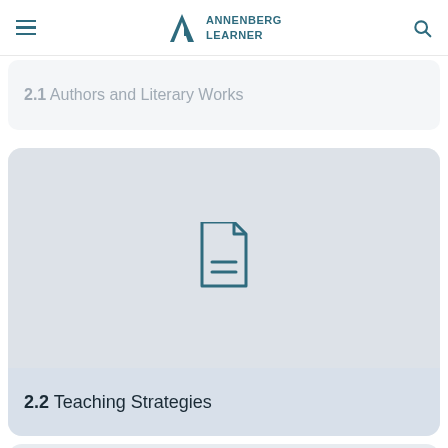ANNENBERG LEARNER
2.1 Authors and Literary Works
[Figure (illustration): Document/file icon with two horizontal lines, styled in dark teal on light grey background, representing a content card for section 2.2]
2.2 Teaching Strategies